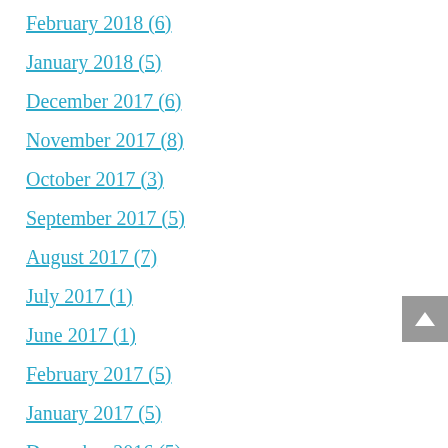February 2018 (6)
January 2018 (5)
December 2017 (6)
November 2017 (8)
October 2017 (3)
September 2017 (5)
August 2017 (7)
July 2017 (1)
June 2017 (1)
February 2017 (5)
January 2017 (5)
December 2016 (5)
November 2016 (1)